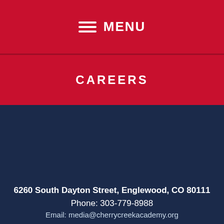MENU
CAREERS
6260 South Dayton Street, Englewood, CO 80111
Phone: 303-779-8988
Email: media@cherrycreekacademy.org